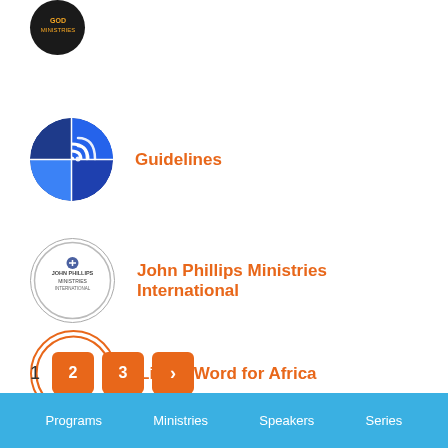Guidelines
John Phillips Ministries International
Living Word for Africa
1  2  3  >
Programs  Ministries  Speakers  Series